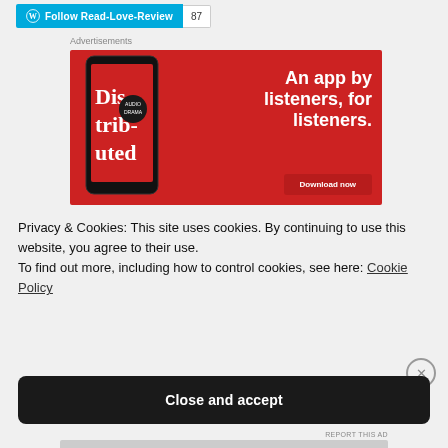[Figure (other): WordPress Follow button with 'Follow Read-Love-Review' label and follower count of 87]
Advertisements
[Figure (infographic): Red advertisement banner for a podcast/audio app: 'An app by listeners, for listeners.' with phone showing 'Distributed' app and a 'Download now' button]
Privacy & Cookies: This site uses cookies. By continuing to use this website, you agree to their use.
To find out more, including how to control cookies, see here: Cookie Policy
Close and accept